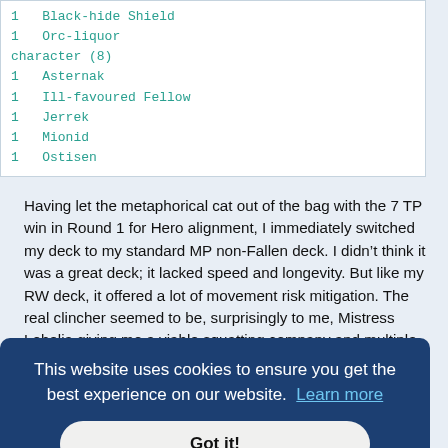1   Black-hide Shield
1   Orc-liquor
character (8)
1   Asternak
1   Ill-favoured Fellow
1   Jerrek
1   Mionid
1   Ostisen
Having let the metaphorical cat out of the bag with the 7 TP win in Round 1 for Hero alignment, I immediately switched my deck to my standard MP non-Fallen deck. I didn't think it was a great deck; it lacked speed and longevity. But like my RW deck, it offered a lot of movement risk mitigation. The real clincher seemed to be, surprisingly to me, Mistress Lobelia giving me a viable squatting company and multiple attempts with crummy Imrahil at the Rangers of the North. And I also hoped my below-
...be the ...well). ...anything ...pushed ...ake ...inst his Tom Bombadil.
This website uses cookies to ensure you get the best experience on our website.  Learn more
Got it!